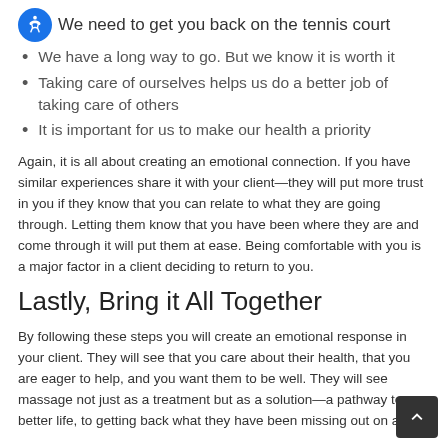We need to get you back on the tennis court
We have a long way to go. But we know it is worth it
Taking care of ourselves helps us do a better job of taking care of others
It is important for us to make our health a priority
Again, it is all about creating an emotional connection. If you have similar experiences share it with your client—they will put more trust in you if they know that you can relate to what they are going through. Letting them know that you have been where they are and come through it will put them at ease. Being comfortable with you is a major factor in a client deciding to return to you.
Lastly, Bring it All Together
By following these steps you will create an emotional response in your client. They will see that you care about their health, that you are eager to help, and you want them to be well. They will see massage not just as a treatment but as a solution—a pathway to a better life, to getting back what they have been missing out on and